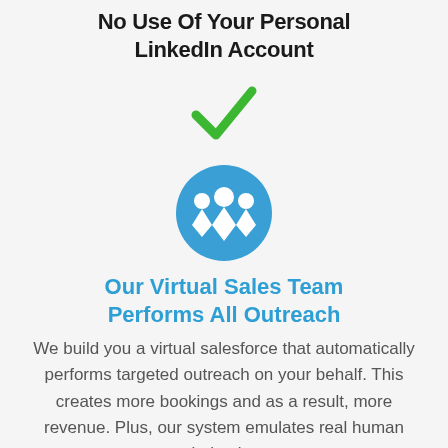No Use Of Your Personal LinkedIn Account
[Figure (illustration): Green checkmark icon]
[Figure (illustration): Blue circle icon with three white people/team silhouettes]
Our Virtual Sales Team Performs All Outreach
We build you a virtual salesforce that automatically performs targeted outreach on your behalf. This creates more bookings and as a result, more revenue. Plus, our system emulates real human behavior